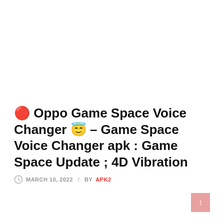🔴 Oppo Game Space Voice Changer 😇 – Game Space Voice Changer apk : Game Space Update ; 4D Vibration
MARCH 10, 2022 / BY APK2
APK DOWNLOAD